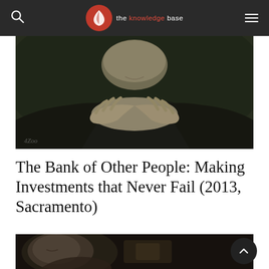the knowledge base
[Figure (photo): Dark green-toned image of a person in dark clothing holding out their cupped hands toward the viewer, with a subtle smile visible. A small watermark '4Zoo' appears in the lower-left corner.]
The Bank of Other People: Making Investments that Never Fail (2013, Sacramento)
[Figure (photo): Dark-toned image of a person with eyes closed, facing slightly downward, in a dimly lit setting with a blurred background.]